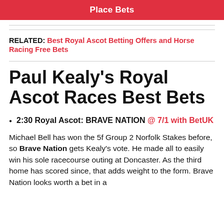Place Bets
RELATED: Best Royal Ascot Betting Offers and Horse Racing Free Bets
Paul Kealy's Royal Ascot Races Best Bets
2:30 Royal Ascot: BRAVE NATION @ 7/1 with BetUK
Michael Bell has won the 5f Group 2 Norfolk Stakes before, so Brave Nation gets Kealy's vote. He made all to easily win his sole racecourse outing at Doncaster. As the third home has scored since, that adds weight to the form. Brave Nation looks worth a bet in a